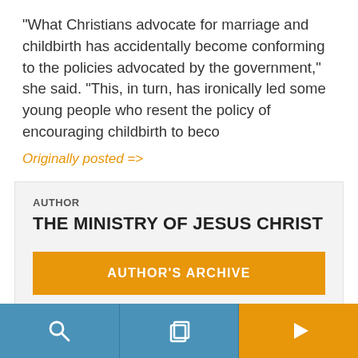“What Christians advocate for marriage and childbirth has accidentally become conforming to the policies advocated by the government,” she said. “This, in turn, has ironically led some young people who resent the policy of encouraging childbirth to beco
Originally posted =>
AUTHOR
THE MINISTRY OF JESUS CHRIST
AUTHOR'S ARCHIVE
READER'S OPINIONS